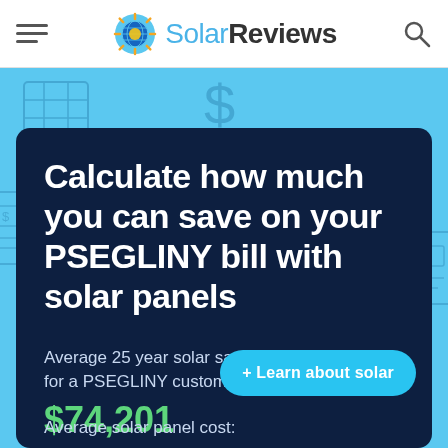SolarReviews
Calculate how much you can save on your PSEGLINY bill with solar panels
Average 25 year solar savings for a PSEGLINY customer: $74,201
Average solar panel cost:
+ Learn about solar